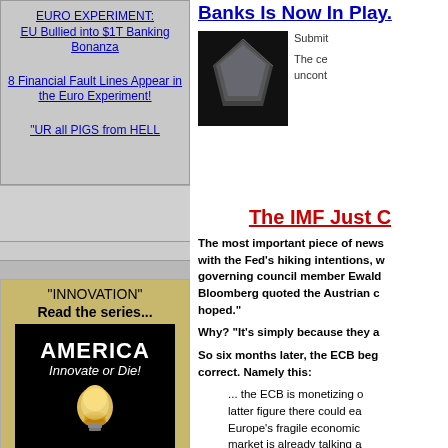EURO EXPERIMENT: EU Bullied into $1T Banking Bonanza
8 Financial Fault Lines Appear in the Euro Experiment!
"UR all PIGS from HELL
"INNOVATION" Read the series...
[Figure (photo): Book cover: AMERICA Innovate or Die! with light bulb image on black background]
Banks Is Now In Play.
[Figure (photo): Dark image of folded paper currency forming a shape on black background]
Submit
The ce uncont
The IMF Just C
The most important piece of news with the Fed's hiking intentions, w governing council member Ewald Bloomberg quoted the Austrian c hoped."
Why? "It's simply because they a
So six months later, the ECB beg correct. Namely this:
... the ECB is monetizing o latter figure there could ea Europe's fragile economic market is already talking a
while we hate to beat a